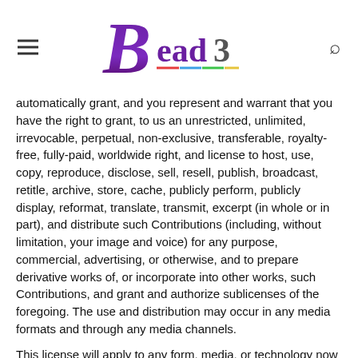[Figure (logo): Bead3 logo with large stylized purple B followed by 'ead3' in purple text, with colorful underline decoration]
automatically grant, and you represent and warrant that you have the right to grant, to us an unrestricted, unlimited, irrevocable, perpetual, non-exclusive, transferable, royalty-free, fully-paid, worldwide right, and license to host, use, copy, reproduce, disclose, sell, resell, publish, broadcast, retitle, archive, store, cache, publicly perform, publicly display, reformat, translate, transmit, excerpt (in whole or in part), and distribute such Contributions (including, without limitation, your image and voice) for any purpose, commercial, advertising, or otherwise, and to prepare derivative works of, or incorporate into other works, such Contributions, and grant and authorize sublicenses of the foregoing. The use and distribution may occur in any media formats and through any media channels.
This license will apply to any form, media, or technology now